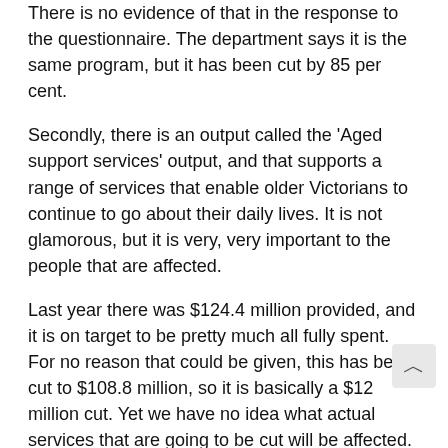There is no evidence of that in the response to the questionnaire. The department says it is the same program, but it has been cut by 85 per cent.
Secondly, there is an output called the 'Aged support services' output, and that supports a range of services that enable older Victorians to continue to go about their daily lives. It is not glamorous, but it is very, very important to the people that are affected.
Last year there was $124.4 million provided, and it is on target to be pretty much all fully spent. For no reason that could be given, this has been cut to $108.8 million, so it is basically a $12 million cut. Yet we have no idea what actual services that are going to be cut will be affected.
So I do identify those two issues as of concern in that portfolio. I do not think time will permit me to talk a the housing portfolio, but of course we have the hea for that next week, so no doubt there are a range of issues